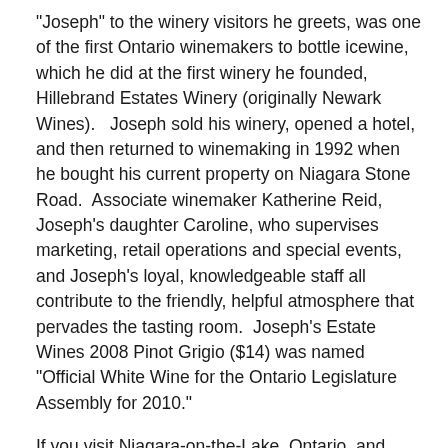"Joseph" to the winery visitors he greets, was one of the first Ontario winemakers to bottle icewine, which he did at the first winery he founded, Hillebrand Estates Winery (originally Newark Wines).   Joseph sold his winery, opened a hotel, and then returned to winemaking in 1992 when he bought his current property on Niagara Stone Road.  Associate winemaker Katherine Reid, Joseph's daughter Caroline, who supervises marketing, retail operations and special events, and Joseph's loyal, knowledgeable staff all contribute to the friendly, helpful atmosphere that pervades the tasting room.  Joseph's Estate Wines 2008 Pinot Grigio ($14) was named "Official White Wine for the Ontario Legislature Assembly for 2010."
If you visit Niagara-on-the-Lake, Ontario, and drive